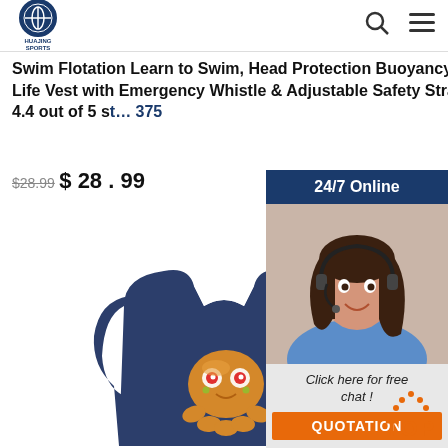HUAJING SPORTS — navigation with search and menu icons
Swim Flotation Learn to Swim, Head Protection Buoyancy Life Vest with Emergency Whistle & Adjustable Safety Strap 4.4 out of 5 st… 375
$28.99 $ 28 . 99
Get Price
[Figure (photo): Customer service representative woman wearing headset, smiling, with '24/7 Online' header and 'Click here for free chat!' text and QUOTATION button]
[Figure (photo): Dark navy blue children's swim flotation life vest with a cute cartoon smiling octopus character printed on the front]
TOP